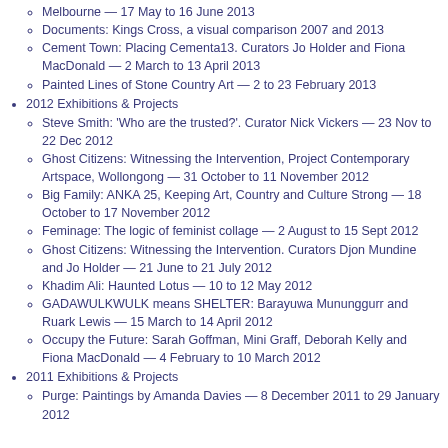Melbourne — 17 May to 16 June 2013
Documents: Kings Cross, a visual comparison 2007 and 2013
Cement Town: Placing Cementa13. Curators Jo Holder and Fiona MacDonald — 2 March to 13 April 2013
Painted Lines of Stone Country Art — 2 to 23 February 2013
2012 Exhibitions & Projects
Steve Smith: 'Who are the trusted?'. Curator Nick Vickers — 23 Nov to 22 Dec 2012
Ghost Citizens: Witnessing the Intervention, Project Contemporary Artspace, Wollongong — 31 October to 11 November 2012
Big Family: ANKA 25, Keeping Art, Country and Culture Strong — 18 October to 17 November 2012
Feminage: The logic of feminist collage — 2 August to 15 Sept 2012
Ghost Citizens: Witnessing the Intervention. Curators Djon Mundine and Jo Holder — 21 June to 21 July 2012
Khadim Ali: Haunted Lotus — 10 to 12 May 2012
GADAWULKWULK means SHELTER: Barayuwa Mununggurr and Ruark Lewis — 15 March to 14 April 2012
Occupy the Future: Sarah Goffman, Mini Graff, Deborah Kelly and Fiona MacDonald — 4 February to 10 March 2012
2011 Exhibitions & Projects
Purge: Paintings by Amanda Davies — 8 December 2011 to 29 January 2012